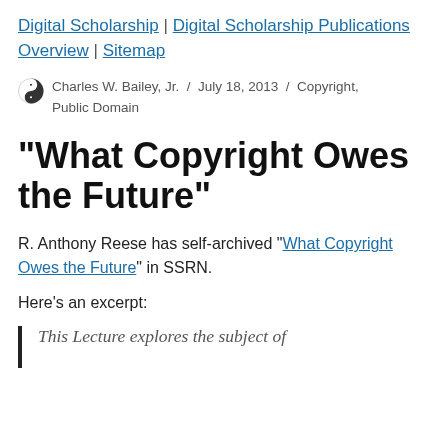Digital Scholarship | Digital Scholarship Publications Overview | Sitemap
Charles W. Bailey, Jr.  /  July 18, 2013  /  Copyright, Public Domain
"What Copyright Owes the Future"
R. Anthony Reese has self-archived "What Copyright Owes the Future" in SSRN.
Here's an excerpt:
This Lecture explores the subject of